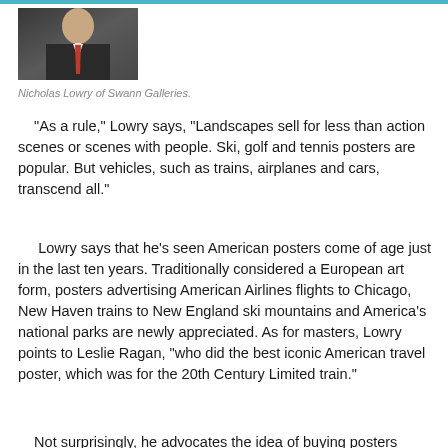[Figure (photo): Photo of Nicholas Lowry of Swann Galleries, showing a person in a dark suit with a red tie, cropped at upper body.]
Nicholas Lowry of Swann Galleries.
"As a rule," Lowry says, "Landscapes sell for less than action scenes or scenes with people. Ski, golf and tennis posters are popular. But vehicles, such as trains, airplanes and cars, transcend all."
Lowry says that he's seen American posters come of age just in the last ten years. Traditionally considered a European art form, posters advertising American Airlines flights to Chicago, New Haven trains to New England ski mountains and America's national parks are newly appreciated. As for masters, Lowry points to Leslie Ragan, "who did the best iconic American travel poster, which was for the 20th Century Limited train."
Not surprisingly, he advocates the idea of buying posters